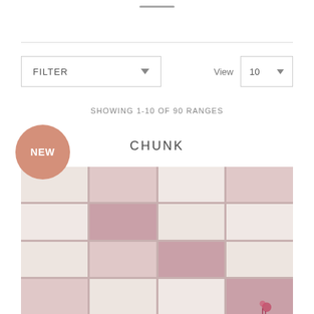SHOWING 1-10 OF 90 RANGES
NEW
CHUNK
[Figure (photo): Patchwork tile product image showing square tiles in various shades of pink, cream and white arranged in a grid pattern with a small floral decoration visible in bottom right]